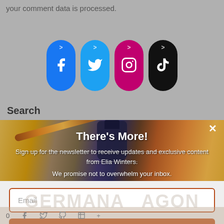your comment data is processed.
[Figure (illustration): Four social media icon buttons in pill/capsule shape: Facebook (dark blue), Twitter (light blue), Instagram (magenta/pink), TikTok (black), each with a '>' arrow at top and the respective brand icon below]
Search
[Figure (photo): A decorative calligraphy dip pen with an ornate brown/amber feather handle resting against an ink bottle, on a wooden surface. A popup modal overlay appears on top showing newsletter signup.]
There's More!
Sign up for the newsletter to receive updates and exclusive content from Elia Winters.
We promise not to overwhelm your inbox.
Email
SUBSCRIBE